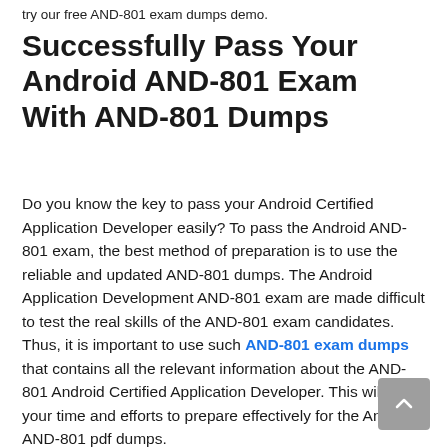try our free AND-801 exam dumps demo.
Successfully Pass Your Android AND-801 Exam With AND-801 Dumps
Do you know the key to pass your Android Certified Application Developer easily? To pass the Android AND-801 exam, the best method of preparation is to use the reliable and updated AND-801 dumps. The Android Application Development AND-801 exam are made difficult to test the real skills of the AND-801 exam candidates. Thus, it is important to use such AND-801 exam dumps that contains all the relevant information about the AND-801 Android Certified Application Developer. This will save your time and efforts to prepare effectively for the Android AND-801 pdf dumps.